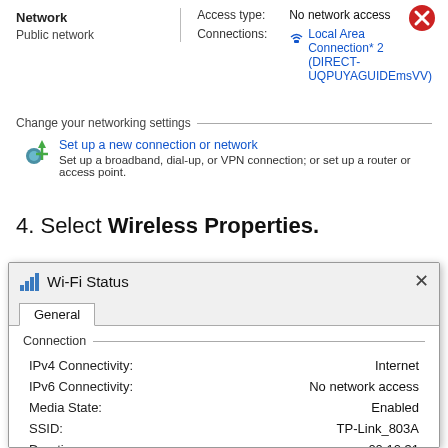[Figure (screenshot): Windows Network settings panel showing Network (Public network) on left, Access type: No network access, Connections: Local Area Connection* 2 (DIRECT-UQPUYAGUIDEmsVV) on right, with a red X icon in the top right corner.]
Change your networking settings
Set up a new connection or network
Set up a broadband, dial-up, or VPN connection; or set up a router or access point.
4. Select Wireless Properties.
[Figure (screenshot): Wi-Fi Status dialog box showing General tab with Connection section listing: IPv4 Connectivity: Internet, IPv6 Connectivity: No network access, Media State: Enabled, SSID: TP-Link_803A, Duration: 00:10:31]